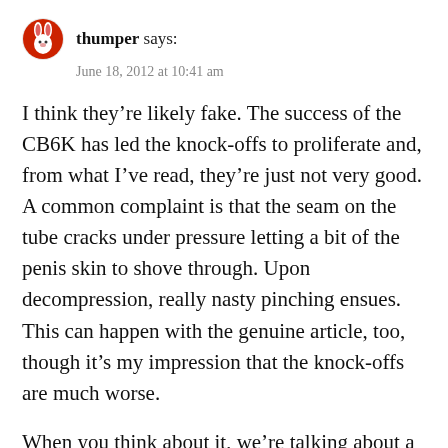thumper says:
June 18, 2012 at 10:41 am
I think they’re likely fake. The success of the CB6K has led the knock-offs to proliferate and, from what I’ve read, they’re just not very good. A common complaint is that the seam on the tube cracks under pressure letting a bit of the penis skin to shove through. Upon decompression, really nasty pinching ensues. This can happen with the genuine article, too, though it’s my impression that the knock-offs are much worse.
When you think about it, we’re talking about a thing you may lock onto one of your most treasured and tender body parts. Seems like the wrong place to throw the dice. I’d go to the